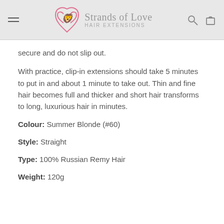Strands of Love HAIR EXTENSIONS
secure and do not slip out.
With practice, clip-in extensions should take 5 minutes to put in and about 1 minute to take out. Thin and fine hair becomes full and thicker and short hair transforms to long, luxurious hair in minutes.
Colour: Summer Blonde (#60)
Style: Straight
Type: 100% Russian Remy Hair
Weight: 120g